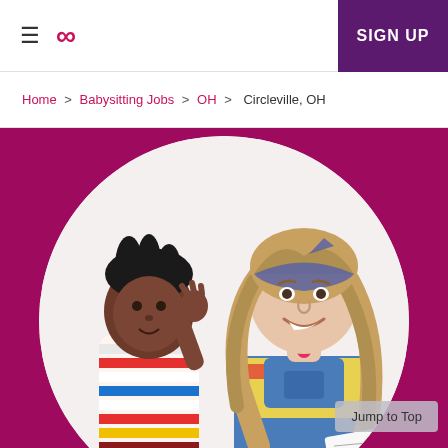≡  ∞  SIGN UP
Home > Babysitting Jobs > OH > Circleville, OH
[Figure (photo): A young woman with long curly hair wearing a blue bandana headband and denim overalls smiles at a young child in a colorful striped shirt who is holding up his hand. They are inside a white circle on a dark pink/magenta background. A 'Jump to Top' button appears in the lower right.]